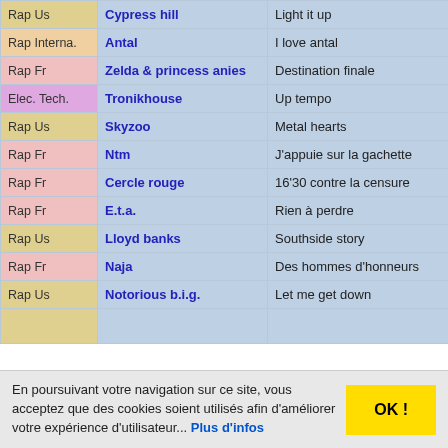| Category | Artist | Song |
| --- | --- | --- |
| Rap Us | Cypress hill | Light it up |
| Rap Interna. | Antal | I love antal |
| Rap Fr | Zelda & princess anies | Destination finale |
| Elec. Tech. | Tronikhouse | Up tempo |
| Rap Us | Skyzoo | Metal hearts |
| Rap Fr | Ntm | J'appuie sur la gachette |
| Rap Fr | Cercle rouge | 16'30 contre la censure |
| Rap Fr | E.t.a. | Rien à perdre |
| Rap Us | Lloyd banks | Southside story |
| Rap Fr | Naja | Des hommes d'honneurs |
| Rap Us | Notorious b.i.g. | Let me get down |
|  |  |  |
En poursuivant votre navigation sur ce site, vous acceptez que des cookies soient utilisés afin d'améliorer votre expérience d'utilisateur... Plus d'infos